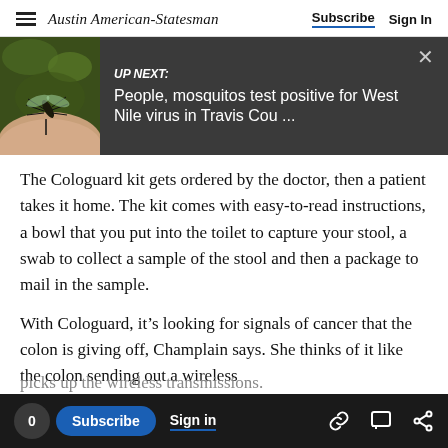Austin American-Statesman | Subscribe | Sign In
[Figure (screenshot): UP NEXT banner with mosquito photo: 'People, mosquitos test positive for West Nile virus in Travis Cou ...']
The Cologuard kit gets ordered by the doctor, then a patient takes it home. The kit comes with easy-to-read instructions, a bowl that you put into the toilet to capture your stool, a swab to collect a sample of the stool and then a package to mail in the sample.
With Cologuard, it’s looking for signals of cancer that the colon is giving off, Champlain says. She thinks of it like the colon sending out a wireless
0 | Subscribe | Sign in | [icons]
picks up the wireless transmissions.